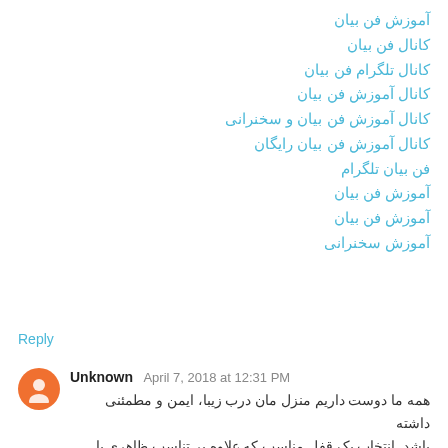آموزش فن بیان
کانال فن بیان
کانال تلگرام فن بیان
کانال آموزش فن بیان
کانال آموزش فن بیان و سخنرانی
کانال آموزش فن بیان رایگان
فن بیان تلگرام
آموزش فن بیان
آموزش فن بیان
آموزش سخنرانی
Reply
Unknown April 7, 2018 at 12:31 PM
همه ما دوست داریم منزل مان درب زیبا، ایمن و مطمئنی داشته باشد. انتخاب یک قفل مناسب که علاوه بر تناسب ظاهری با درب شما، از امنیت بالایی نیز برخوردار باشد، از جمله نکاتی است که می تواند خیال شما را بابت آسایش و امنیت خانه تان تضمین کند